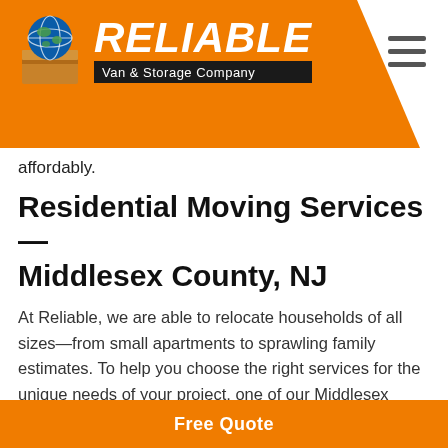Reliable Van & Storage Company
affordably.
Residential Moving Services—Middlesex County, NJ
At Reliable, we are able to relocate households of all sizes—from small apartments to sprawling family estimates. To help you choose the right services for the unique needs of your project, one of our Middlesex County movers will come to your home to provide you with a free, written estimate of your moving costs. By offering both basic and full-service moving options, we provide a long list of benefits that include:
Free Quote